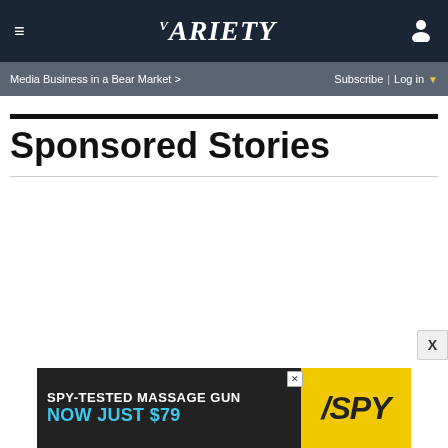≡  VARIETY  [user icon]
Media Business in a Bear Market >   Subscribe | Log in ▼
Sponsored Stories
[Figure (other): Advertisement banner: SPY-TESTED MASSAGE GUN NOW JUST $79 with SPY logo on yellow background]